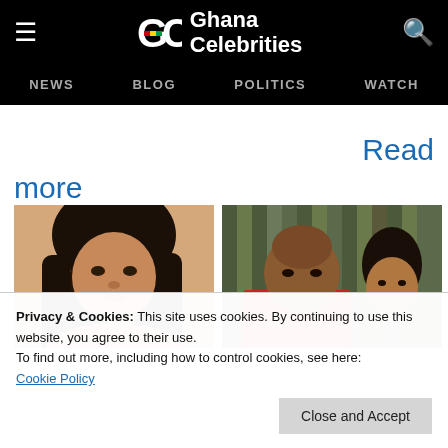Ghana Celebrities
NEWS  BLOG  POLITICS  WATCH
Read more
[Figure (photo): Young woman with long braids, looking slightly downward]
[Figure (photo): Older man in red shirt with a younger woman behind him, in front of green/gold background]
Privacy & Cookies: This site uses cookies. By continuing to use this website, you agree to their use.
To find out more, including how to control cookies, see here:
Cookie Policy
Close and Accept